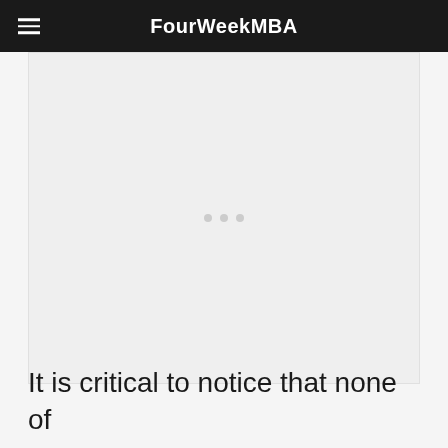FourWeekMBA
[Figure (other): Advertisement placeholder area with three small gray dots in the center]
It is critical to notice that none of